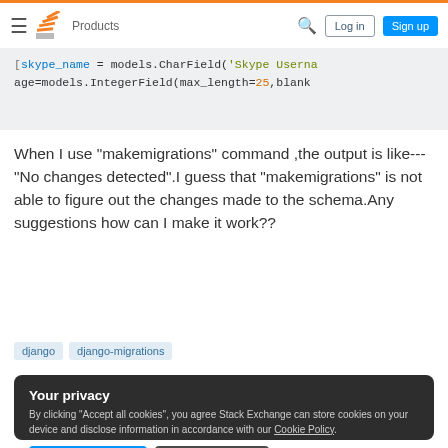Stack Overflow — Products | Log in | Sign up
[Figure (screenshot): Partial code block showing Django model fields: skype_name = models.CharField('Skype Usernaage=models.IntegerField(max_length=25,blank]
When I use "makemigrations" command ,the output is like---"No changes detected".I guess that "makemigrations" is not able to figure out the changes made to the schema.Any suggestions how can I make it work??
django
django-migrations
Your privacy
By clicking "Accept all cookies", you agree Stack Exchange can store cookies on your device and disclose information in accordance with our Cookie Policy.
Accept all cookies | Customize settings